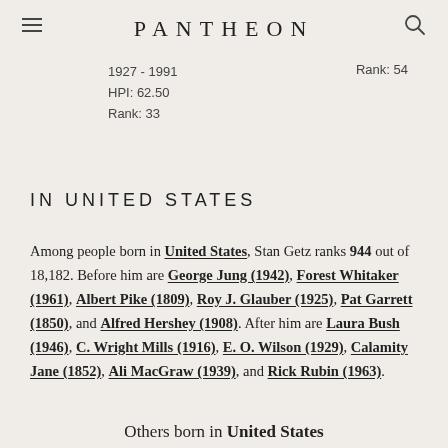PANTHEON
1927 - 1991
HPI: 62.50
Rank: 33
Rank: 54
IN UNITED STATES
Among people born in United States, Stan Getz ranks 944 out of 18,182. Before him are George Jung (1942), Forest Whitaker (1961), Albert Pike (1809), Roy J. Glauber (1925), Pat Garrett (1850), and Alfred Hershey (1908). After him are Laura Bush (1946), C. Wright Mills (1916), E. O. Wilson (1929), Calamity Jane (1852), Ali MacGraw (1939), and Rick Rubin (1963).
Others born in United States